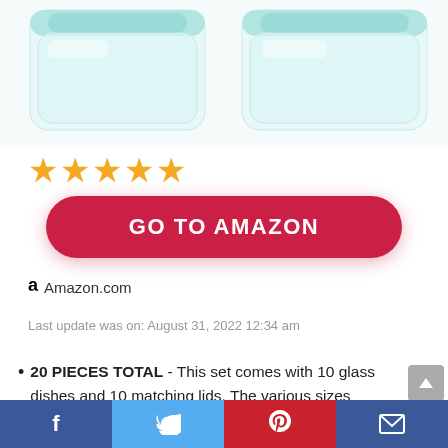[Figure (photo): Two glass food storage containers with teal/blue lids shown side by side from above on white background]
★★★★★
GO TO AMAZON
Amazon.com
Last update was on: August 31, 2022 12:34 am
20 PIECES TOTAL - This set comes with 10 glass dishes and 10 matching lids. The various sizes provide plenty of options that are perfect for storing leftovers, meal prep, lunches, picnics, and
Facebook  Twitter  Pinterest  Email